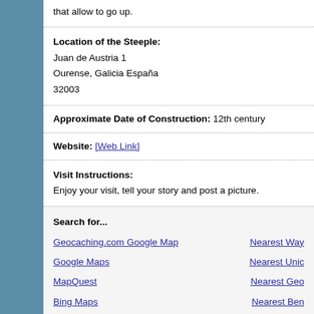that allow to go up.
Location of the Steeple:
Juan de Austria 1
Ourense, Galicia España
32003
Approximate Date of Construction: 12th century
Website: [Web Link]
Visit Instructions:
Enjoy your visit, tell your story and post a picture.
Search for...
Geocaching.com Google Map
Google Maps
MapQuest
Bing Maps
Nearest Way
Nearest Unic
Nearest Geo
Nearest Ben
Create a scavenger hunt using this waymark as the center point